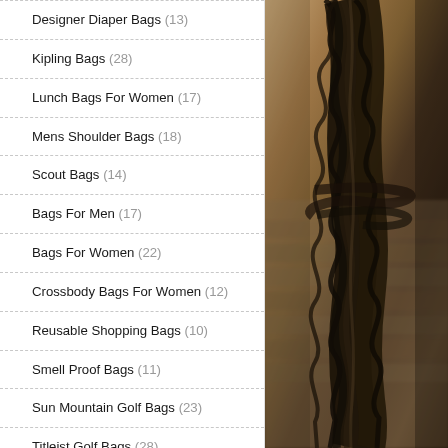Designer Diaper Bags (13)
Kipling Bags (28)
Lunch Bags For Women (17)
Mens Shoulder Bags (18)
Scout Bags (14)
Bags For Men (17)
Bags For Women (22)
Crossbody Bags For Women (12)
Reusable Shopping Bags (10)
Smell Proof Bags (11)
Sun Mountain Golf Bags (23)
Titleist Golf Bags (28)
Women Bags (17)
Women'S Crossbody Bags (19)
Baby Diaper Bags (15)
Baseball Bags (4)
[Figure (photo): Close-up photograph of a dark brown braided leather bag or rope detail against a blurred brick/stone background]